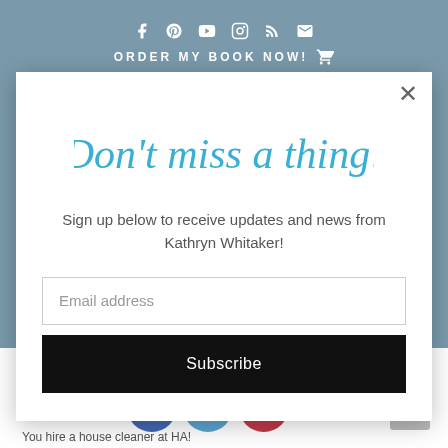ORDER MY BOOK NOW!
[Figure (screenshot): Email newsletter signup modal popup with cursive heading 'Don't miss a thing!', body text, email input field, and Subscribe button]
Don't miss a thing!
Sign up below to receive updates and news from Kathryn Whitaker!
Email address
Subscribe